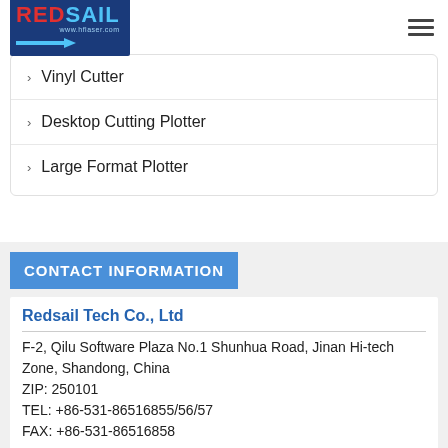REDSAIL www.hflaser.com
Vinyl Cutter
Desktop Cutting Plotter
Large Format Plotter
CONTACT INFORMATION
Redsail Tech Co., Ltd
F-2, Qilu Software Plaza No.1 Shunhua Road, Jinan Hi-tech Zone, Shandong, China
ZIP: 250101
TEL: +86-531-86516855/56/57
FAX: +86-531-86516858
Redsail Canada Inc.